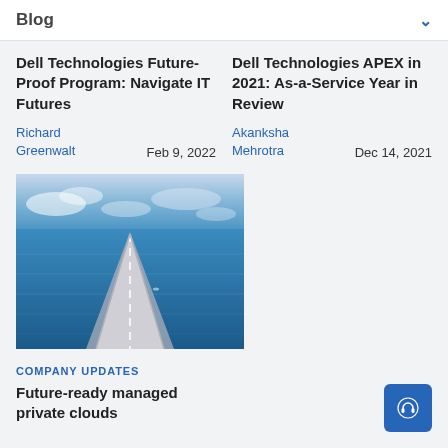Blog
Dell Technologies Future-Proof Program: Navigate IT Futures
Richard Greenwalt   Feb 9, 2022
Dell Technologies APEX in 2021: As-a-Service Year in Review
Akanksha Mehrotra   Dec 14, 2021
[Figure (photo): Aerial view of a long bridge or road stretching across a blue ocean/sea]
COMPANY UPDATES
Future-ready managed private clouds